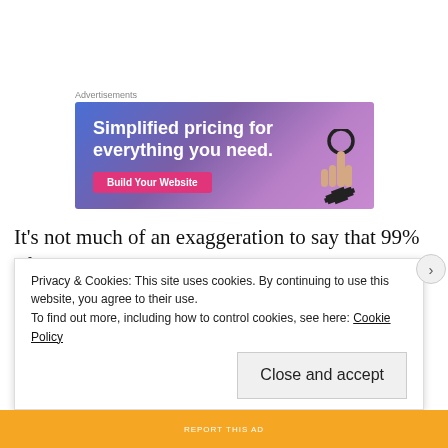Advertisements
[Figure (other): Advertisement banner with gradient blue-purple background reading 'Simplified pricing for everything you need.' with a 'Build Your Website' button and a hand holding glasses illustration.]
It’s not much of an exaggeration to say that 99% of the men in this movie are huge dicks. This Borderline display of misandry might frustrate male viewers, but to be fair, the male characters are a minority here, as the film focuses on f... k...
Privacy & Cookies: This site uses cookies. By continuing to use this website, you agree to their use.
To find out more, including how to control cookies, see here: Cookie Policy
Close and accept